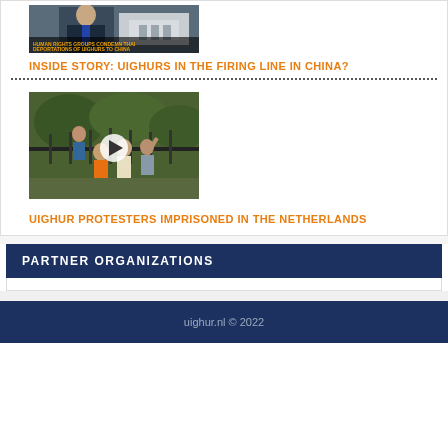[Figure (screenshot): Video thumbnail showing a man in suit with text overlay 'HUMAN RIGHTS GROUPS CONDEMN THAI DEPORTATIONS OF UIGHURS TO CHINA']
INSIDE STORY: UIGHURS IN THE FIRING LINE IN CHINA?
[Figure (screenshot): Video thumbnail showing protesters climbing a fence with a play button overlay]
UIGHUR PROTESTERS IMPRISONED IN THE NETHERLANDS
PARTNER ORGANIZATIONS
uighur.nl © 2022